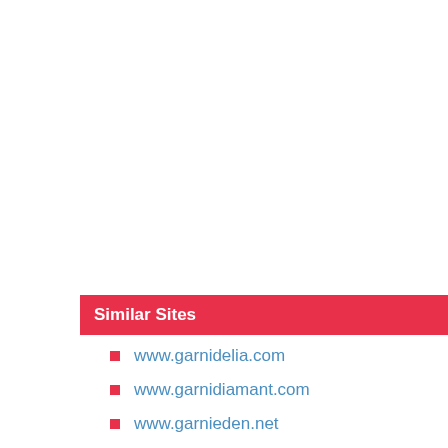Similar Sites
www.garnidelia.com
www.garnidiamant.com
www.garnieden.net
www.garnier-be.com
www.garnier-malet.com